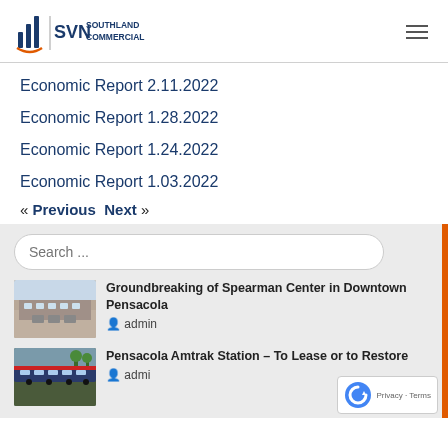SVN Southland Commercial
Economic Report 2.11.2022
Economic Report 1.28.2022
Economic Report 1.24.2022
Economic Report 1.03.2022
« Previous  Next »
Search ...
[Figure (photo): Exterior rendering of Spearman Center building in Downtown Pensacola]
Groundbreaking of Spearman Center in Downtown Pensacola
admin
[Figure (photo): Amtrak train at Pensacola Amtrak Station]
Pensacola Amtrak Station – To Lease or to Restore
admin